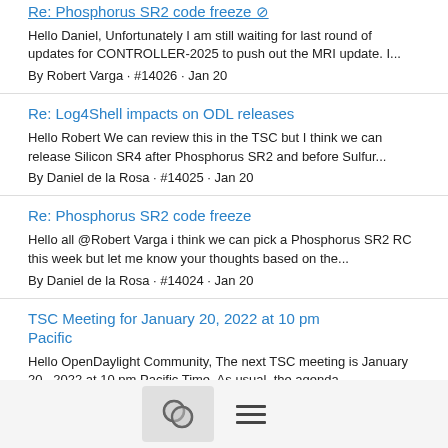Re: Phosphorus SR2 code freeze
Hello Daniel, Unfortunately I am still waiting for last round of updates for CONTROLLER-2025 to push out the MRI update. I...
By Robert Varga · #14026 · Jan 20
Re: Log4Shell impacts on ODL releases
Hello Robert We can review this in the TSC but I think we can release Silicon SR4 after Phosphorus SR2 and before Sulfur...
By Daniel de la Rosa · #14025 · Jan 20
Re: Phosphorus SR2 code freeze
Hello all @Robert Varga i think we can pick a Phosphorus SR2 RC this week but let me know your thoughts based on the...
By Daniel de la Rosa · #14024 · Jan 20
TSC Meeting for January 20, 2022 at 10 pm Pacific
Hello OpenDaylight Community, The next TSC meeting is January 20 , 2022 at 10 pm Pacific Time. As usual, the agenda...
By Guillaume Lambert · #14023 · Jan 19